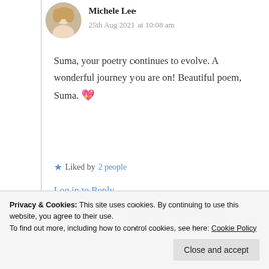[Figure (photo): Circular avatar photo of Michele Lee, a woman with blonde hair]
Michele Lee
25th Aug 2021 at 10:08 am
Suma, your poetry continues to evolve. A wonderful journey you are on! Beautiful poem, Suma. 💖
★ Liked by 2 people
Log in to Reply
I am so glad and grateful for your
Privacy & Cookies: This site uses cookies. By continuing to use this website, you agree to their use.
To find out more, including how to control cookies, see here: Cookie Policy
Close and accept